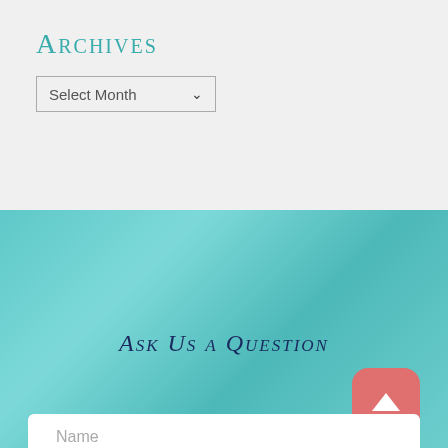Archives
[Figure (screenshot): A dropdown select box labeled 'Select Month' with a chevron arrow indicator]
Ask Us a Question
[Figure (other): A coral/salmon colored rounded square button with a white upward-pointing triangle arrow (back to top button)]
Name